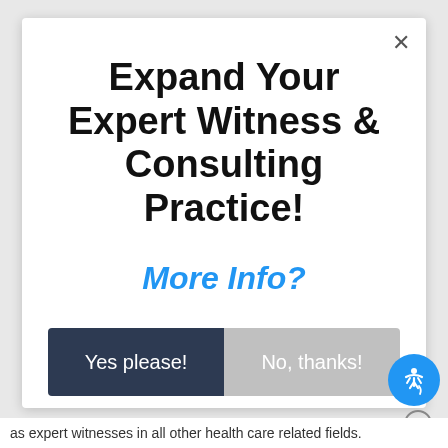Expand Your Expert Witness & Consulting Practice!
More Info?
Yes please!
No, thanks!
as expert witnesses in all other health care related fields.